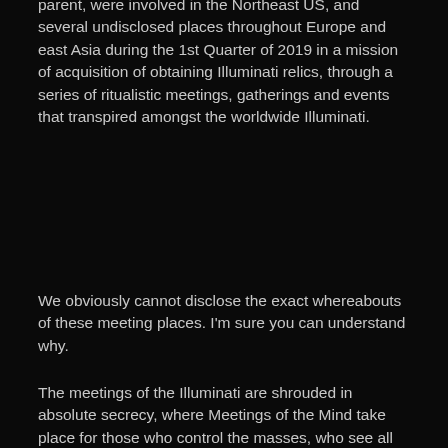parent, were involved in the Northeast US, and several undisclosed places throughout Europe and east Asia during the 1st Quarter of 2019 in a mission of acquisition of obtaining Illuminati relics, through a series of ritualistic meetings, gatherings and events that transpired amongst the worldwide Illuminati.
We obviously cannot disclose the exact whereabouts of these meeting places. I'm sure you can understand why.
The meetings of the Illuminati are shrouded in absolute secrecy, where Meetings of the Mind take place for those who control the masses, who see all the world their stomping grounds, using means kept hidden from the populace to rise to Wealth and Power. These are heavily guarded meeting places meant to impress, entertain, and empower those who already can do and have anything they desire – were Magick, Spectacle, and Power flow as freely as the monsoon rain, like a Heathenistic bazaar for the World's Rich and Powerful; a brouhaha of the Powerful Elite super-rich, blood dynasty member families of the Illuminati; heavy-hitting corporate chieftains, high government officials,